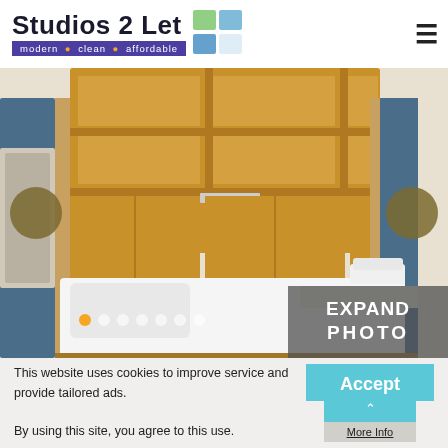[Figure (logo): Studios 2 Let logo with tagline 'modern • clean • affordable' and a colorful cube icon]
[Figure (photo): Interior photo of a studio flat showing a fold-down double bed with white bedding, built-in wooden shelving unit above, and blue wardrobe panels on the sides]
EXPAND PHOTO
This website uses cookies to improve service and provide tailored ads.

By using this site, you agree to this use.
Accept
More Info